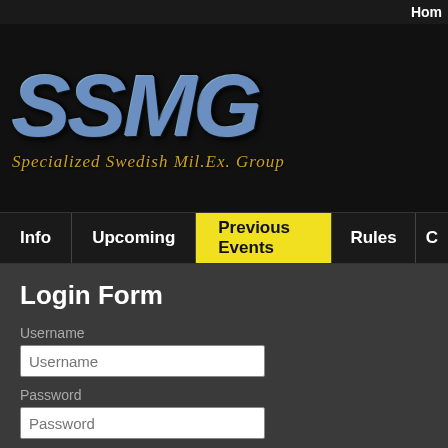Hom
[Figure (logo): SSMG logo with large metallic blue stone-textured letters and subtitle 'Specialized Swedish Mil.Ex. Group']
Info | Upcoming | Previous Events | Rules | C
Login Form
Username
Password
Secret Key
Remember Me
Log in
Create an account